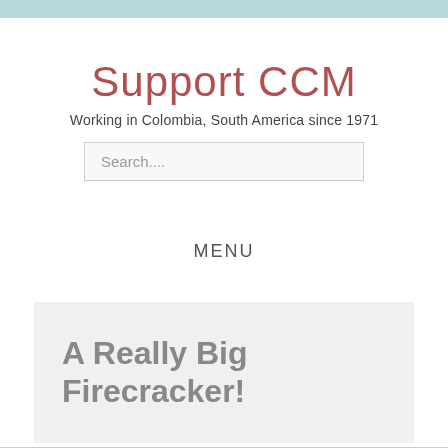Support CCM
Working in Colombia, South America since 1971
Search....
MENU
A Really Big Firecracker!